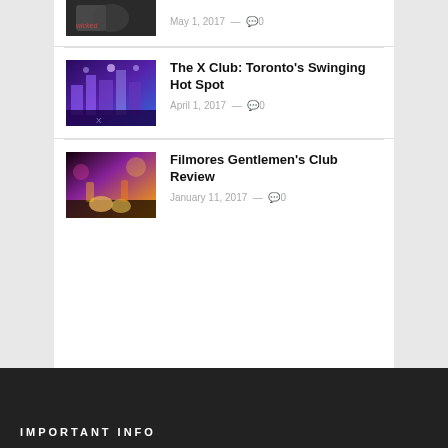[Figure (photo): Thumbnail photo top partial - dark/monochrome image with person in black]
May 1, 2017 — 🗨 0
[Figure (photo): Thumbnail photo of The X Club interior - blue/purple lit nightclub]
The X Club: Toronto's Swinging Hot Spot
April 1, 2017 — 🗨 0
[Figure (photo): Thumbnail photo of Filmores Gentlemen's Club - stage with platform shoes in colorful lights]
Filmores Gentlemen's Club Review
January 11, 2017 — 🗨 0
IMPORTANT INFO